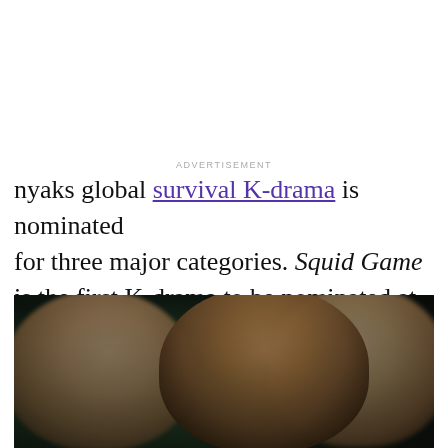ADVERTISEMENT
nyaks global survival K-drama is nominated for three major categories. Squid Game is the first K-drama to be nominated at the Golden Globes for Best Series. The K-drama breaks the barrier of foreign content in Hollywood.
[Figure (photo): Three men in dark clothing standing close together, photographed in a dramatic, cinematic style with shallow depth of field. The central figure stares intensely at the camera.]